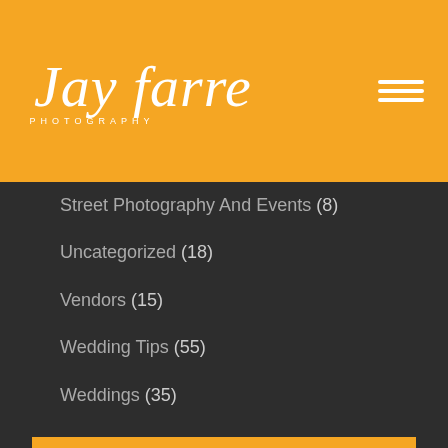[Figure (logo): Jay Farrell Photography script logo in white on orange background with hamburger menu icon]
Street Photography And Events (8)
Uncategorized (18)
Vendors (15)
Wedding Tips (55)
Weddings (35)
RECENT POSTS
Nashville corporate headshots | Gulf State Engineering
How often to update your headshot?
What your business stands for | Nashville wedding...